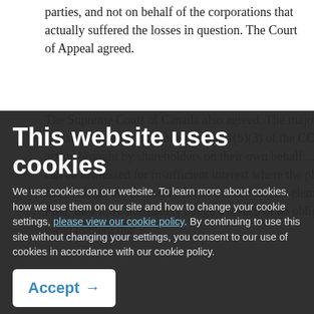parties, and not on behalf of the corporations that actually suffered the losses in question. The Court of Appeal agreed.
This website uses cookies
We use cookies on our website. To learn more about cookies, how we use them on our site and how to change your cookie settings, please view our cookie policy. By continuing to use this site without changing your settings, you consent to our use of cookies in accordance with our cookie policy.
The Supreme Court of Canada also agreed. The majority decision confirms that under article 1(b)(3) of the CCB, an action brought by shareholders on their own behalf ...ration can be dismissed for insufficient interest where the plaintiffs fail to allege the necessary facts to establish two elements. First, they must adequately allege a breach of an obligation owed to them that is